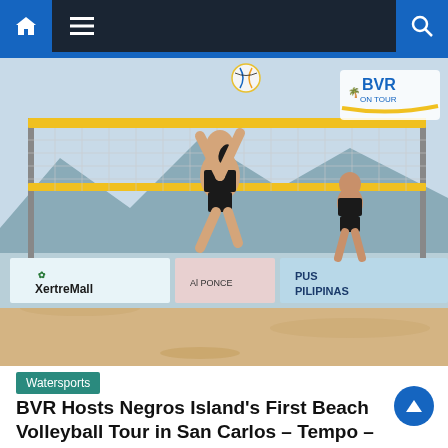Navigation bar with home icon, menu icon, and search icon
[Figure (photo): Two female beach volleyball players on a sand court. One player in black bikini is jumping and setting/spiking the ball above a yellow-taped net. Another player in the background watches. Sponsor banners visible including XertroMall and other brands. BVR On Tour logo visible in upper right corner. Beach/ocean setting with mountains in background.]
Watersports
BVR Hosts Negros Island's First Beach Volleyball Tour in San Carlos – Tempo – The Nation's Fastest Growing Newspaper